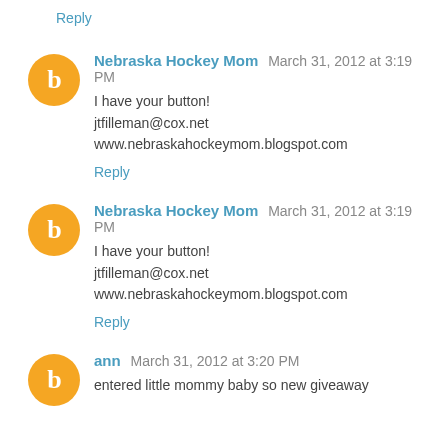Reply
Nebraska Hockey Mom March 31, 2012 at 3:19 PM
I have your button!
jtfilleman@cox.net
www.nebraskahockeymom.blogspot.com
Reply
Nebraska Hockey Mom March 31, 2012 at 3:19 PM
I have your button!
jtfilleman@cox.net
www.nebraskahockeymom.blogspot.com
Reply
ann March 31, 2012 at 3:20 PM
entered little mommy baby so new giveaway